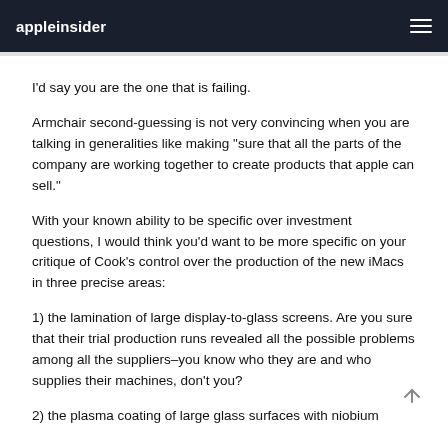appleinsider
I'd say you are the one that is failing.
Armchair second-guessing is not very convincing when you are talking in generalities like making "sure that all the parts of the company are working together to create products that apple can sell."
With your known ability to be specific over investment questions, I would think you'd want to be more specific on your critique of Cook's control over the production of the new iMacs in three precise areas:
1) the lamination of large display-to-glass screens. Are you sure that their trial production runs revealed all the possible problems among all the suppliers–you know who they are and who supplies their machines, don't you?
2) the plasma coating of large glass surfaces with niobium